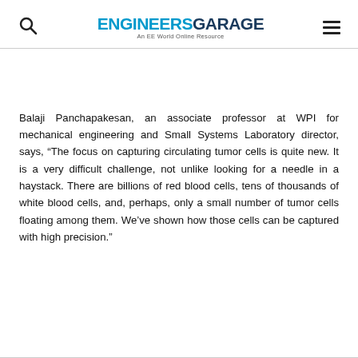ENGINEERS GARAGE — An EE World Online Resource
Balaji Panchapakesan, an associate professor at WPI for mechanical engineering and Small Systems Laboratory director, says, “The focus on capturing circulating tumor cells is quite new. It is a very difficult challenge, not unlike looking for a needle in a haystack. There are billions of red blood cells, tens of thousands of white blood cells, and, perhaps, only a small number of tumor cells floating among them. We’ve shown how those cells can be captured with high precision.”